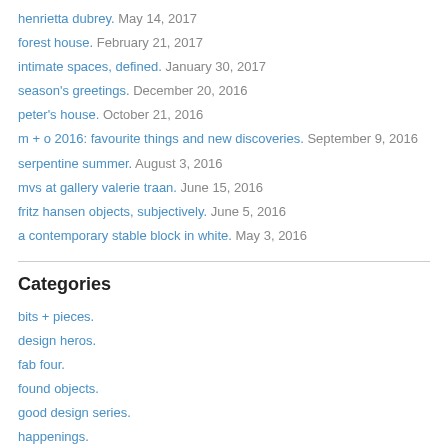henrietta dubrey. May 14, 2017
forest house. February 21, 2017
intimate spaces, defined. January 30, 2017
season's greetings. December 20, 2016
peter's house. October 21, 2016
m + o 2016: favourite things and new discoveries. September 9, 2016
serpentine summer. August 3, 2016
mvs at gallery valerie traan. June 15, 2016
fritz hansen objects, subjectively. June 5, 2016
a contemporary stable block in white. May 3, 2016
Categories
bits + pieces.
design heros.
fab four.
found objects.
good design series.
happenings.